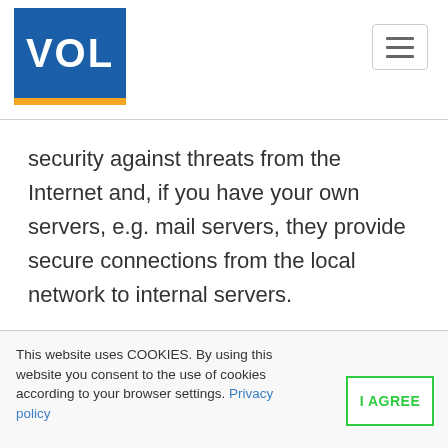[Figure (logo): VOL logo — blue rectangle with white bold text 'VOL' and an orange bar beneath]
security against threats from the Internet and, if you have your own servers, e.g. mail servers, they provide secure connections from the local network to internal servers.
This website uses COOKIES. By using this website you consent to the use of cookies according to your browser settings. Privacy policy